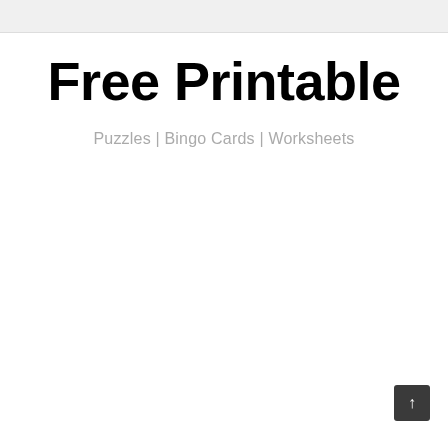Free Printable
Puzzles | Bingo Cards | Worksheets